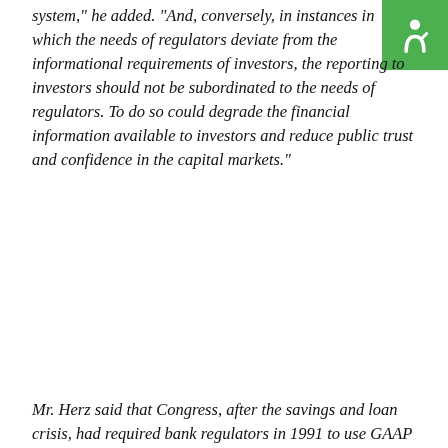system,” he added. “And, conversely, in instances in which the needs of regulators deviate from the informational requirements of investors, the reporting to investors should not be subordinated to the needs of regulators. To do so could degrade the financial information available to investors and reduce public trust and confidence in the capital markets.”
Mr. Herz said that Congress, after the savings and loan crisis, had required bank regulators in 1991 to use GAAP as the basis for capital rules, but said the regulators could depart from such rules.
Herz is calling it “decoupling” of the rules which sounds a hell of a
This website uses cookies to improve your experience. We’ll assume you’re ok with this, but you can opt-out if you wish.
ACCEPT